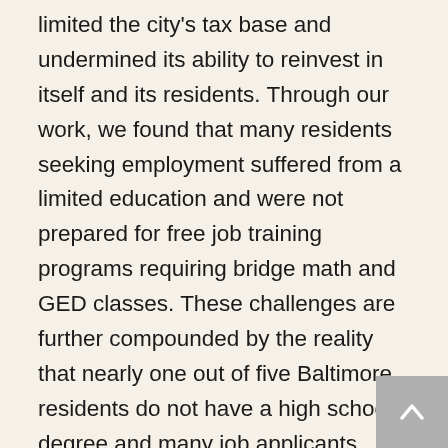limited the city's tax base and undermined its ability to reinvest in itself and its residents. Through our work, we found that many residents seeking employment suffered from a limited education and were not prepared for free job training programs requiring bridge math and GED classes. These challenges are further compounded by the reality that nearly one out of five Baltimore residents do not have a high school degree and many job applicants have a criminal background that further limits their employment options. Through our work, the BIP found that employers were hesitant to commit to local hiring without strong workforce partners that could prepare